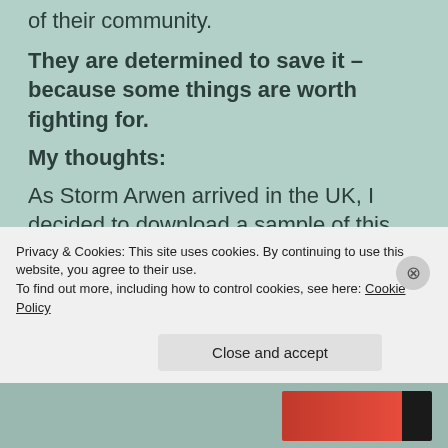of their community.
They are determined to save it – because some things are worth fighting for.
My thoughts:
As Storm Arwen arrived in the UK, I decided to download a sample of this ebook to my kindle after seeing a reminder on social media
Privacy & Cookies: This site uses cookies. By continuing to use this website, you agree to their use.
To find out more, including how to control cookies, see here: Cookie Policy
Close and accept